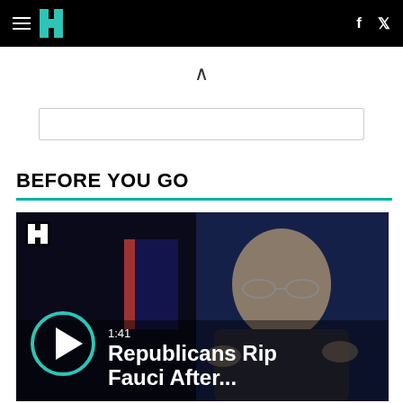HuffPost navigation bar with hamburger menu, logo, Facebook and Twitter icons
[Figure (other): Upward chevron/caret collapse icon]
[Figure (other): Search/subscribe input box]
BEFORE YOU GO
[Figure (screenshot): Video thumbnail showing man (Fauci) at podium with American flag, play button overlay, duration 1:41, title: Republicans Rip Fauci After...]